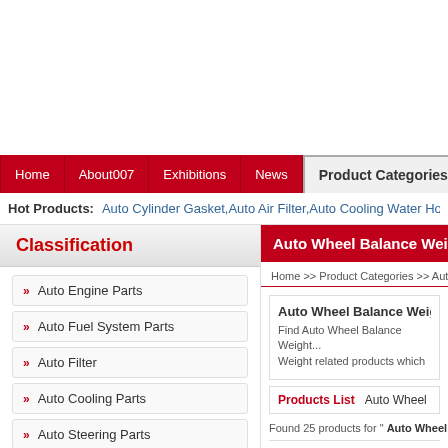Home | About007 | Exhibitions | News | Product Categories | Buyer Inquiry
Hot Products: Auto Cylinder Gasket, Auto Air Filter, Auto Cooling Water Hose, Auto S...
Classification
Auto Engine Parts
Auto Fuel System Parts
Auto Filter
Auto Cooling Parts
Auto Steering Parts
Auto Suspension Parts
Auto Shock Absorber
Auto Brake Parts
Auto Ignition Parts
Auto Power Train Parts
Auto Wheel Balance Weight
Home >> Product Categories >> Auto...
Auto Wheel Balance Weight
Find Auto Wheel Balance Weight... Weight related products which m...
Products List    Auto Wheel Ba...
Found 25 products for " Auto Wheel...
Wheel Balance...
1)Material:Iron Coating: 4)228...